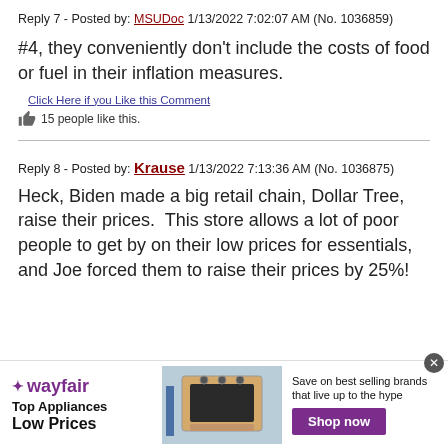Reply 7 - Posted by: MSUDoc 1/13/2022 7:02:07 AM (No. 1036859)
#4, they conveniently don’t include the costs of food or fuel in their inflation measures.
Click Here if you Like this Comment
15 people like this.
Reply 8 - Posted by: Krause 1/13/2022 7:13:36 AM (No. 1036875)
Heck, Biden made a big retail chain, Dollar Tree, raise their prices.  This store allows a lot of poor people to get by on their low prices for essentials, and Joe forced them to raise their prices by 25%!
[Figure (other): Wayfair advertisement banner: Top Appliances Low Prices, Save on best selling brands that live up to the hype, Shop now button]